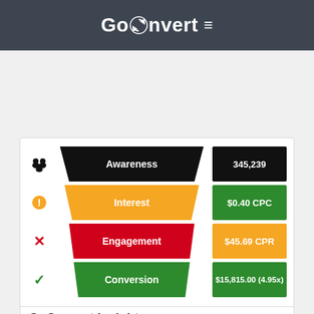GoConvert ≡
[Figure (infographic): Marketing funnel diagram with 4 stages: Awareness (345,239), Interest ($0.40 CPC), Engagement ($45.69 CPR), Conversion ($15,815.00 (4.95x)). Each stage has a trapezoid funnel shape and a colored metric box. Left side shows status icons: group icon, warning icon, X icon, checkmark icon.]
GoConvert Insights
Your click through rate (CTR) needs some work. 2% is considered average. To incr...